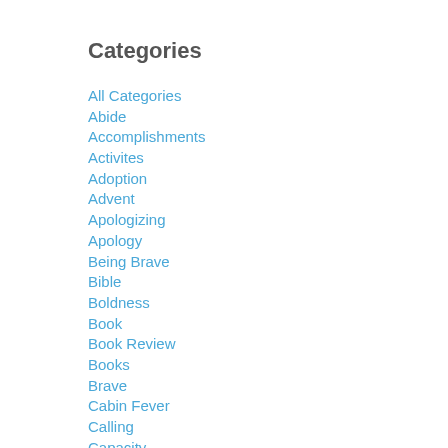Categories
All Categories
Abide
Accomplishments
Activites
Adoption
Advent
Apologizing
Apology
Being Brave
Bible
Boldness
Book
Book Review
Books
Brave
Cabin Fever
Calling
Capacity